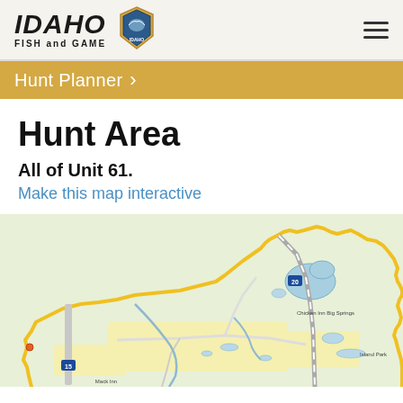IDAHO FISH and GAME
Hunt Planner >
Hunt Area
All of Unit 61.
Make this map interactive
[Figure (map): Partial map of Idaho Hunt Unit 61 showing geographic area with yellow boundary outline, green terrain, blue water bodies, and road networks. Labels include Chicken Inn, Big Springs, Island Park, and Mack Inn areas. Interstate 15 visible on the left side.]